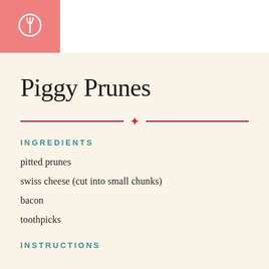[Figure (logo): Fork and spoon icon on pink salmon background in top-left corner]
Piggy Prunes
INGREDIENTS
pitted prunes
swiss cheese (cut into small chunks)
bacon
toothpicks
INSTRUCTIONS